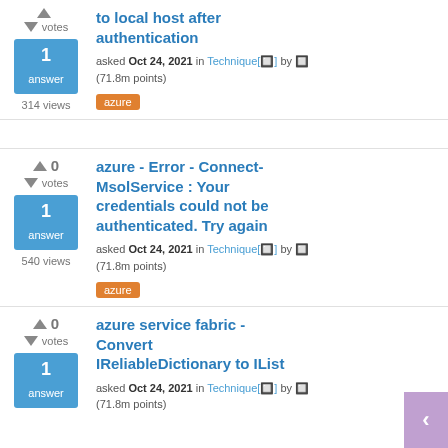to local host after authentication — asked Oct 24, 2021 in Technique by (71.8m points) — 1 answer, 314 views — tag: azure
azure - Error - Connect-MsolService : Your credentials could not be authenticated. Try again — asked Oct 24, 2021 in Technique by (71.8m points) — 1 answer, 540 views — tag: azure
azure service fabric - Convert IReliableDictionary to IList — asked Oct 24, 2021 in Technique by (71.8m points) — 1 answer